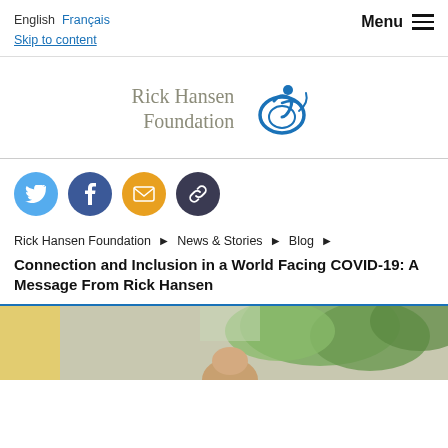English  Français  Skip to content  Menu
[Figure (logo): Rick Hansen Foundation logo with stylized wheelchair user icon in blue]
[Figure (infographic): Social sharing icons row: Twitter (blue), Facebook (dark blue), Email (gold/orange), Link (dark navy)]
Rick Hansen Foundation ▶ News & Stories ▶ Blog ▶
Connection and Inclusion in a World Facing COVID-19: A Message From Rick Hansen
[Figure (photo): Partial photo showing outdoor scene with tree foliage and person, cropped at bottom of page]